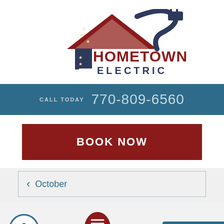[Figure (logo): Hometown Electric logo with American flag house and electrical plug, showing '1 Hometown Electric' text]
CALL TODAY 770-809-6560
BOOK NOW
October
HOME OFFICE ELECTRIC NEEDS
··· Text Us Now